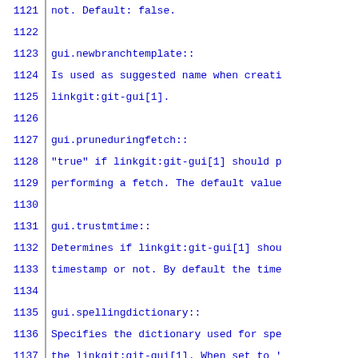1121    not. Default: false.
1122
1123  gui.newbranchtemplate::
1124        Is used as suggested name when creati
1125        linkgit:git-gui[1].
1126
1127  gui.pruneduringfetch::
1128        "true" if linkgit:git-gui[1] should p
1129        performing a fetch. The default value
1130
1131  gui.trustmtime::
1132        Determines if linkgit:git-gui[1] shou
1133        timestamp or not. By default the time
1134
1135  gui.spellingdictionary::
1136        Specifies the dictionary used for spe
1137        the linkgit:git-gui[1]. When set to '
1138        off.
1139
1140  gui.fastcopyblame::
1141        If true, 'git gui blame' uses `-C` in
1142        location detection. It makes blame si
1143        repositories at the expense of less t
1144
1145  gui.copyblamethreshold::
1146        Specifies the threshold to use in 'gi
1147        detection, measured in alphanumeric c
1148        linkgit:git-blame[1] manual for more
1149
1150  gui.blamehistoryctx::
1151        Specifies the radius of history cont